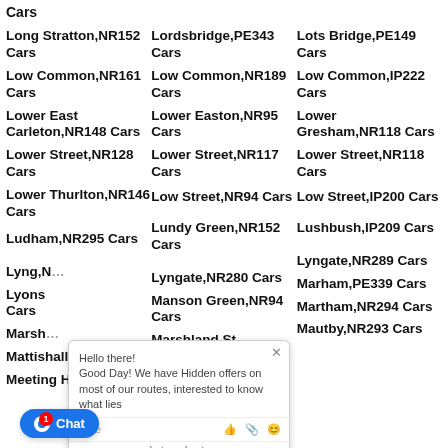Cars
Long Stratton,NR152 Cars
Lordsbridge,PE343 Cars
Lots Bridge,PE149 Cars
Low Common,NR161 Cars
Low Common,NR189 Cars
Low Common,IP222 Cars
Lower East Carleton,NR148 Cars
Lower Easton,NR95 Cars
Lower Gresham,NR118 Cars
Lower Street,NR128 Cars
Lower Street,NR117 Cars
Lower Street,NR118 Cars
Lower Thurlton,NR146 Cars
Low Street,NR94 Cars
Low Street,IP200 Cars
Ludham,NR295 Cars
Lundy Green,NR152 Cars
Lushbush,IP209 Cars
Lyng,N...
Lyngate,NR280 Cars
Lyngate,NR289 Cars
Lyons...Cars
Manson Green,NR94 Cars
Marham,PE339 Cars
Marsh...
Marshland St James,PE148 Cars
Martham,NR294 Cars
Mattishall,NR203 Cars
Mattishall Burgh,NR203 Cars
Mautby,NR293 Cars
Meeting House
Melton